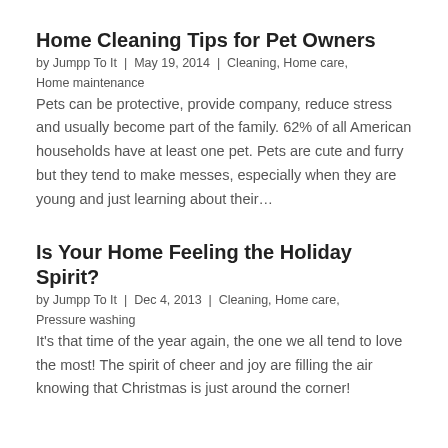Home Cleaning Tips for Pet Owners
by Jumpp To It  |  May 19, 2014  |  Cleaning, Home care, Home maintenance
Pets can be protective, provide company, reduce stress and usually become part of the family. 62% of all American households have at least one pet. Pets are cute and furry but they tend to make messes, especially when they are young and just learning about their…
Is Your Home Feeling the Holiday Spirit?
by Jumpp To It  |  Dec 4, 2013  |  Cleaning, Home care, Pressure washing
It's that time of the year again, the one we all tend to love the most! The spirit of cheer and joy are filling the air knowing that Christmas is just around the corner!